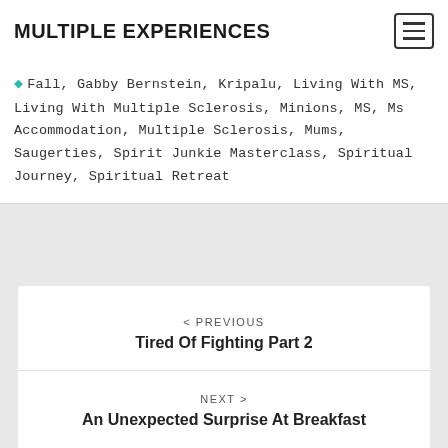MULTIPLE EXPERIENCES
Fall, Gabby Bernstein, Kripalu, Living With MS, Living With Multiple Sclerosis, Minions, MS, Ms Accommodation, Multiple Sclerosis, Mums, Saugerties, Spirit Junkie Masterclass, Spiritual Journey, Spiritual Retreat
< PREVIOUS
Tired Of Fighting Part 2
NEXT >
An Unexpected Surprise At Breakfast